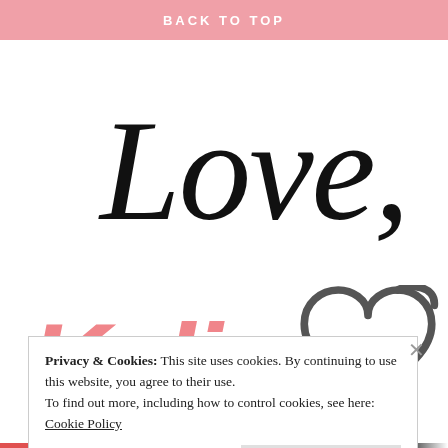BACK TO TOP
[Figure (illustration): Handwritten-style cursive text reading 'Love,' in large black script font]
[Figure (illustration): Bold pink decorative text reading 'Kylie' with a hand-drawn dark gray heart outline to the right]
Privacy & Cookies: This site uses cookies. By continuing to use this website, you agree to their use.
To find out more, including how to control cookies, see here:
Cookie Policy
Close and accept